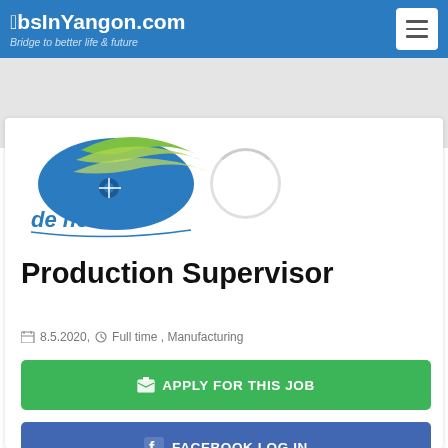JobsInYangon.com – Bridge to better life & future
[Figure (logo): De Heus company logo with blue and green swoosh shapes and 'de heus' blue text]
Production Supervisor
8.5.2020, Full time , Manufacturing
APPLY FOR THIS JOB
FACEBOOK LOG IN